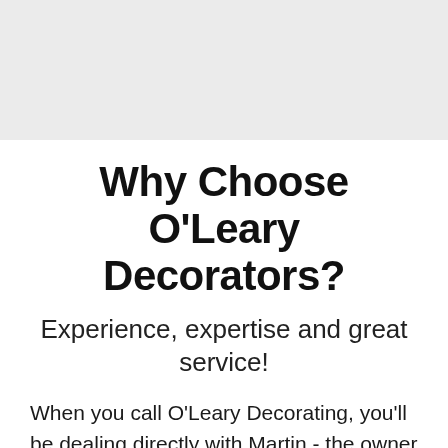[Figure (other): Grey banner/header band at top of page]
Why Choose O'Leary Decorators?
Experience, expertise and great service!
When you call O'Leary Decorating, you'll be dealing directly with Martin - the owner of the business. As well as being a Trade Qualified painter with over ˊ years experience in the industry, we have painted